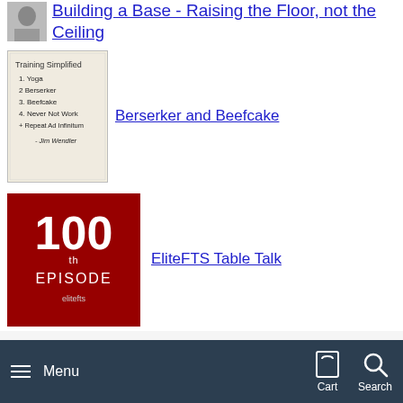Building a Base - Raising the Floor, not the Ceiling
Berserker and Beefcake
EliteFTS Table Talk
Boring But Big and Beating Cancer
Main menu
Menu   Cart   Search